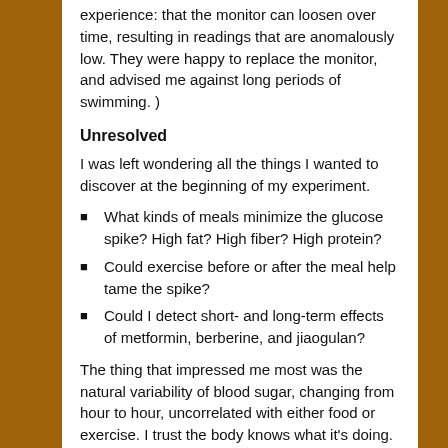experience: that the monitor can loosen over time, resulting in readings that are anomalously low. They were happy to replace the monitor, and advised me against long periods of swimming. )
Unresolved
I was left wondering all the things I wanted to discover at the beginning of my experiment.
What kinds of meals minimize the glucose spike? High fat? High fiber? High protein?
Could exercise before or after the meal help tame the spike?
Could I detect short- and long-term effects of metformin, berberine, and jiaogulan?
The thing that impressed me most was the natural variability of blood sugar, changing from hour to hour, uncorrelated with either food or exercise. I trust the body knows what it's doing. “Le corps a ses raisons que la